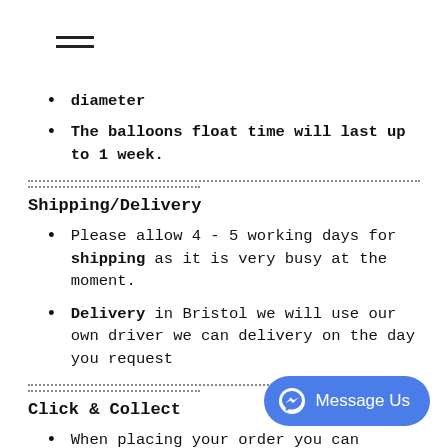☰ (hamburger menu icon)
diameter
The balloons float time will last up to 1 week.
............................................................................................................
........................
Shipping/Delivery
Please allow 4 - 5 working days for shipping as it is very busy at the moment.
Delivery in Bristol we will use our own driver we can delivery on the day you request
............................................................................................................
........................
Click & Collect
When placing your order you can select